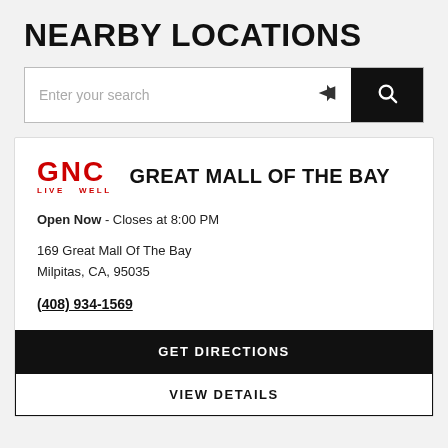NEARBY LOCATIONS
Enter your search
GNC LIVE WELL  GREAT MALL OF THE BAY
Open Now - Closes at 8:00 PM
169 Great Mall Of The Bay
Milpitas, CA, 95035
(408) 934-1569
GET DIRECTIONS
VIEW DETAILS